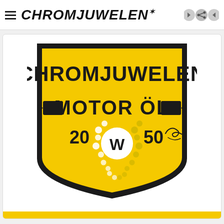CHROMJUWELEN
[Figure (logo): Chromjuwelen Motor Öl circular badge/label on yellow background. Black shield-shaped border with bold text 'CHROMJUWELEN' on top and 'MOTOR ÖL' below with arrow decorations on both sides. Center shows '20 W 50' viscosity rating with a white circular W marker surrounded by decorative dots, and a handwritten signature to the right.]